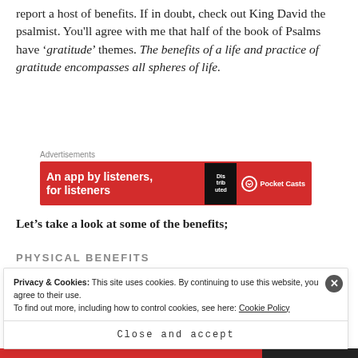report a host of benefits. If in doubt, check out King David the psalmist. You'll agree with me that half of the book of Psalms have 'gratitude' themes. The benefits of a life and practice of gratitude encompasses all spheres of life.
[Figure (other): Pocket Casts advertisement banner — red background, text 'An app by listeners, for listeners', book graphic labeled 'Distributed', Pocket Casts logo]
Let's take a look at some of the benefits;
PHYSICAL BENEFITS
Privacy & Cookies: This site uses cookies. By continuing to use this website, you agree to their use.
To find out more, including how to control cookies, see here: Cookie Policy
Close and accept